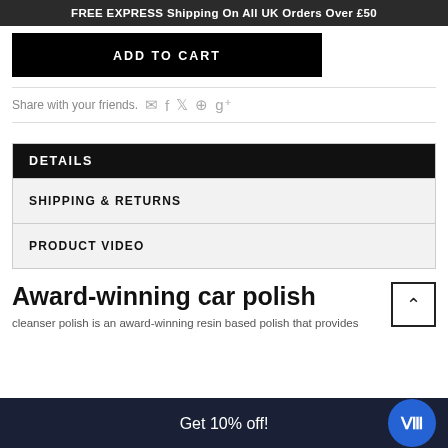FREE EXPRESS Shipping On All UK Orders Over £50
ADD TO CART
Share with your friends.
DETAILS
SHIPPING & RETURNS
PRODUCT VIDEO
Award-winning car polish
cleanser polish is an award-winning resin based polish that provides
Get 10% off!